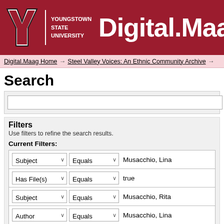[Figure (logo): Youngstown State University logo with Y letter mark and text, followed by Digital.Maa header text on dark red background]
Digital.Maag Home → Steel Valley Voices: An Ethnic Community Archive →
Search
Filters
Use filters to refine the search results.
Current Filters:
| Field | Operator | Value |
| --- | --- | --- |
| Subject | Equals | Musacchio, Lina |
| Has File(s) | Equals | true |
| Subject | Equals | Musacchio, Rita |
| Author | Equals | Musacchio, Lina |
| Author | Equals | Musacchio, Rita |
| Subject | Equals | Lariccia, Benjamin, Jr. |